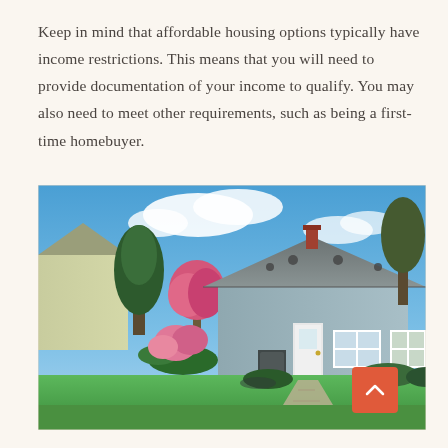Keep in mind that affordable housing options typically have income restrictions. This means that you will need to provide documentation of your income to qualify. You may also need to meet other requirements, such as being a first-time homebuyer.
[Figure (photo): Exterior photo of a small single-story light blue/grey house with a grey roof, white front door, two windows, surrounded by green lawn, flower bushes, and trees under a partly cloudy blue sky.]